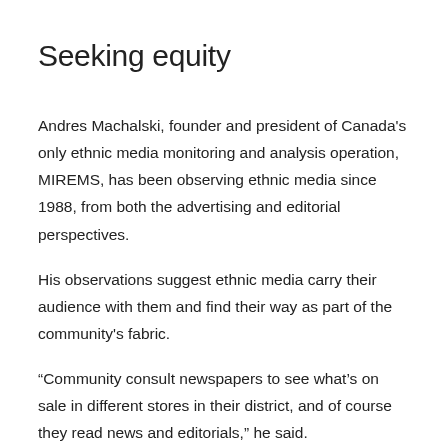Seeking equity
Andres Machalski, founder and president of Canada's only ethnic media monitoring and analysis operation, MIREMS, has been observing ethnic media since 1988, from both the advertising and editorial perspectives.
His observations suggest ethnic media carry their audience with them and find their way as part of the community's fabric.
“Community consult newspapers to see what’s on sale in different stores in their district, and of course they read news and editorials,” he said.